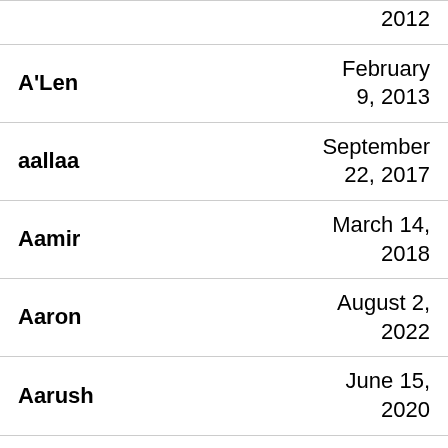| Name | Date |
| --- | --- |
|  | 2012 |
| A'Len | February 9, 2013 |
| aallaa | September 22, 2017 |
| Aamir | March 14, 2018 |
| Aaron | August 2, 2022 |
| Aarush | June 15, 2020 |
| Aatiqah Parveen | May 26, 2020 |
| Aavis | March 21 |